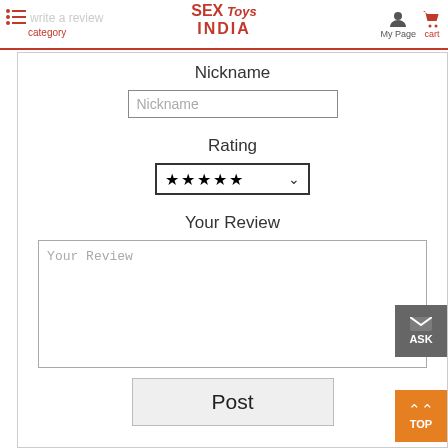SEX Toys INDIA — Write a review | My Page | cart
Nickname
Nickname (input placeholder)
Rating
★★★★★ (dropdown)
Your Review
Your Review (textarea placeholder)
Post